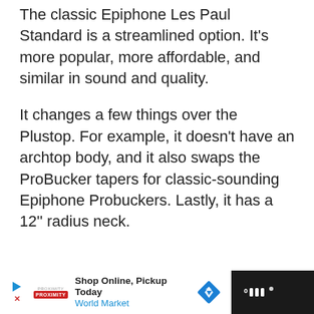The classic Epiphone Les Paul Standard is a streamlined option. It's more popular, more affordable, and similar in sound and quality.
It changes a few things over the Plustop. For example, it doesn't have an archtop body, and it also swaps the ProBucker tapers for classic-sounding Epiphone Probuckers. Lastly, it has a 12'' radius neck.
Shop Online, Pickup Today World Market